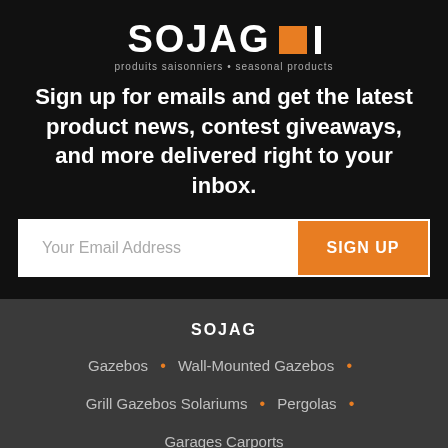[Figure (logo): SOJAG logo with orange square and white bar, tagline: produits saisonniers • seasonal products]
Sign up for emails and get the latest product news, contest giveaways, and more delivered right to your inbox.
Your Email Address | SIGN UP
SOJAG
Gazebos • Wall-Mounted Gazebos •
Grill Gazebos Solariums • Pergolas •
Garages Carports